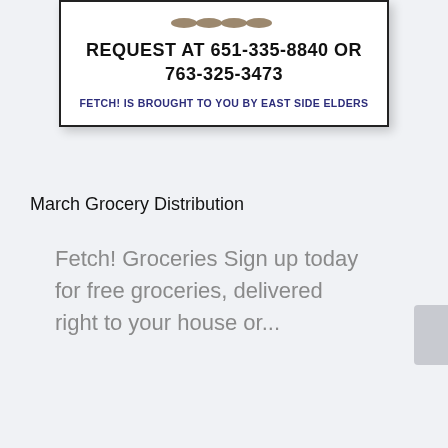REQUEST AT 651-335-8840 OR 763-325-3473
FETCH! IS BROUGHT TO YOU BY EAST SIDE ELDERS
March Grocery Distribution
Fetch! Groceries Sign up today for free groceries, delivered right to your house or...